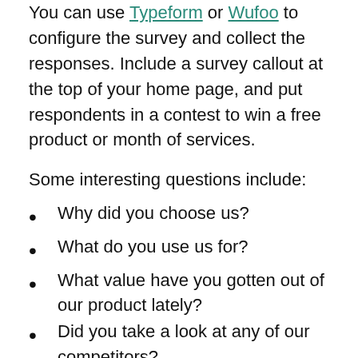You can use Typeform or Wufoo to configure the survey and collect the responses. Include a survey callout at the top of your home page, and put respondents in a contest to win a free product or month of services.
Some interesting questions include:
Why did you choose us?
What do you use us for?
What value have you gotten out of our product lately?
Did you take a look at any of our competitors?
Are there any aspects to our service that